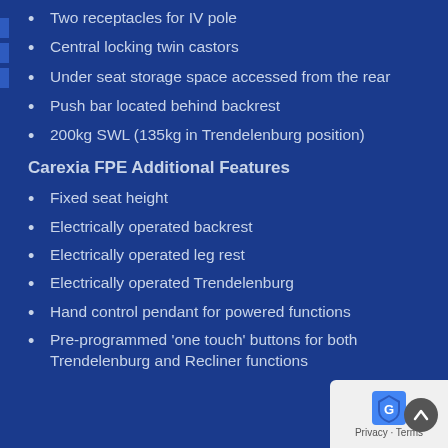Two receptacles for IV pole
Central locking twin castors
Under seat storage space accessed from the rear
Push bar located behind backrest
200kg SWL (135kg in Trendelenburg position)
Carexia FPE Additional Features
Fixed seat height
Electrically operated backrest
Electrically operated leg rest
Electrically operated Trendelenburg
Hand control pendant for powered functions
Pre-programmed 'one touch' buttons for both Trendelenburg and Recliner functions